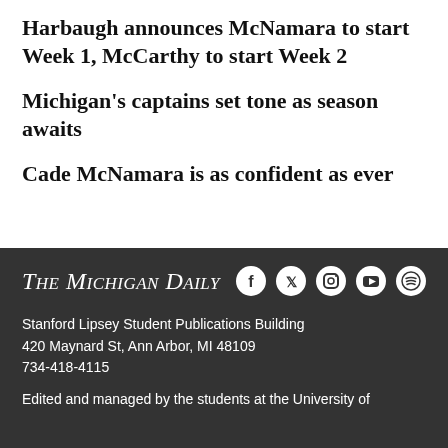Harbaugh announces McNamara to start Week 1, McCarthy to start Week 2
Michigan's captains set tone as season awaits
Cade McNamara is as confident as ever
The Michigan Daily
Stanford Lipsey Student Publications Building
420 Maynard St, Ann Arbor, MI 48109
734-418-4115
Edited and managed by the students at the University of